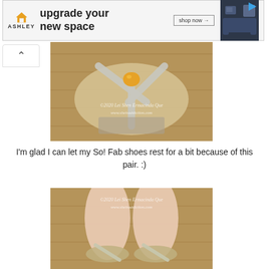[Figure (photo): Ashley Furniture advertisement banner showing logo, 'upgrade your new space' text, shop now button, and navy couch photo]
[Figure (photo): Close-up top-down view of silver strappy sandal with amber gem detail on wooden surface, with watermark text]
I'm glad I can let my So! Fab shoes rest for a bit because of this pair. :)
[Figure (photo): Close-up of feet wearing silver/gold strappy sandals on wooden floor, with watermark text]